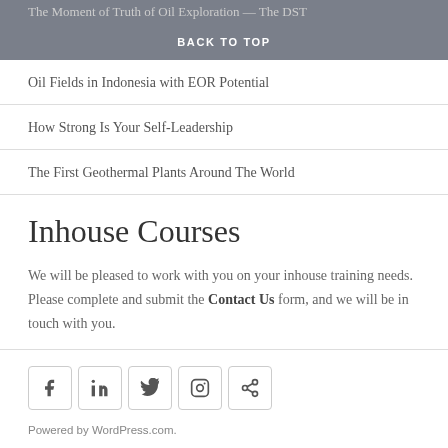The Moment of Truth of Oil Exploration — The DST
BACK TO TOP
Oil Fields in Indonesia with EOR Potential
How Strong Is Your Self-Leadership
The First Geothermal Plants Around The World
Inhouse Courses
We will be pleased to work with you on your inhouse training needs. Please complete and submit the Contact Us form, and we will be in touch with you.
[Figure (other): Social media icons: Facebook, LinkedIn, Twitter, Instagram, and a share/link icon]
Powered by WordPress.com.